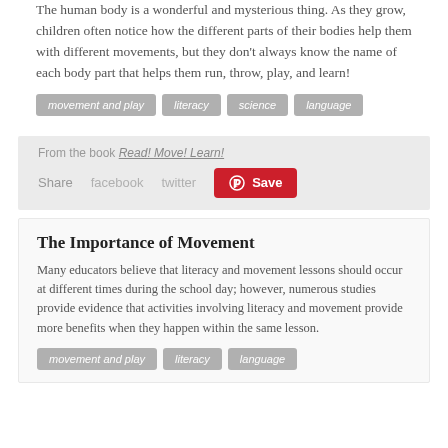The human body is a wonderful and mysterious thing. As they grow, children often notice how the different parts of their bodies help them with different movements, but they don't always know the name of each body part that helps them run, throw, play, and learn!
movement and play
literacy
science
language
From the book Read! Move! Learn!
Share   facebook   twitter   Save
The Importance of Movement
Many educators believe that literacy and movement lessons should occur at different times during the school day; however, numerous studies provide evidence that activities involving literacy and movement provide more benefits when they happen within the same lesson.
movement and play
literacy
language